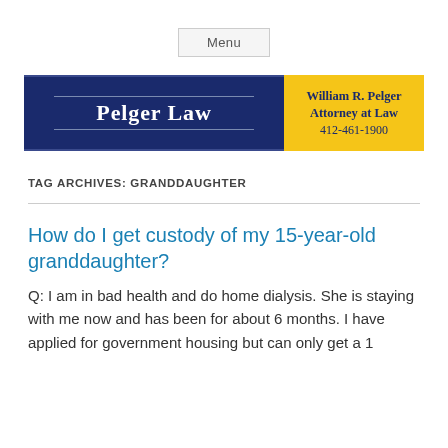Menu
[Figure (logo): Pelger Law logo banner — dark blue left panel with 'PELGER LAW' in white serif font between two horizontal lines, and yellow right panel with 'William R. Pelger Attorney at Law 412-461-1900' in dark blue text.]
TAG ARCHIVES: GRANDDAUGHTER
How do I get custody of my 15-year-old granddaughter?
Q: I am in bad health and do home dialysis. She is staying with me now and has been for about 6 months. I have applied for government housing but can only get a 1